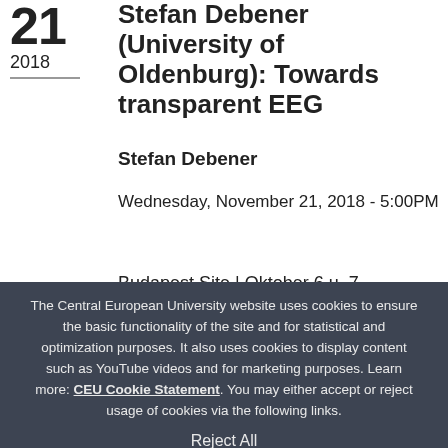Stefan Debener (University of Oldenburg): Towards transparent EEG
Stefan Debener
Wednesday, November 21, 2018 - 5:00PM
Budapest Site | Oktober 6 u. 7
The Central European University website uses cookies to ensure the basic functionality of the site and for statistical and optimization purposes. It also uses cookies to display content such as YouTube videos and for marketing purposes. Learn more: CEU Cookie Statement. You may either accept or reject usage of cookies via the following links.
Reject All
Accept and Continue